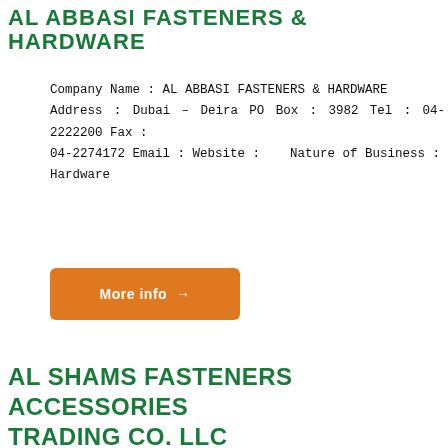AL ABBASI FASTENERS & HARDWARE
Company Name : AL ABBASI FASTENERS & HARDWARE Address : Dubai – Deira PO Box : 3982 Tel : 04-2222200 Fax : 04-2274172 Email : Website :   Nature of Business : Hardware
[Figure (other): Orange 'More info →' button]
AL SHAMS FASTENERS ACCESSORIES TRADING CO. LLC